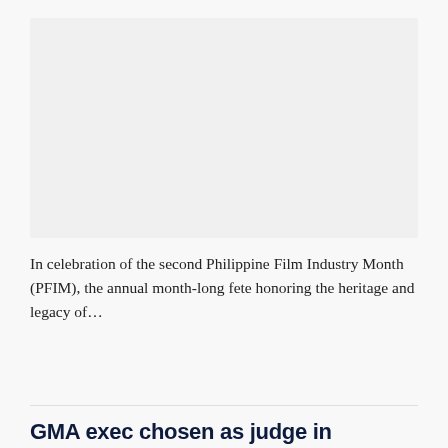[Figure (photo): Image placeholder area for article above (Philippine Film Industry Month article)]
In celebration of the second Philippine Film Industry Month (PFIM), the annual month-long fete honoring the heritage and legacy of…
GMA exec chosen as judge in ContentAsia Awards 2022
BY MANILA STANDARD SHOWBIZ  AUGUST 29, 2022, 8:15 PM  0